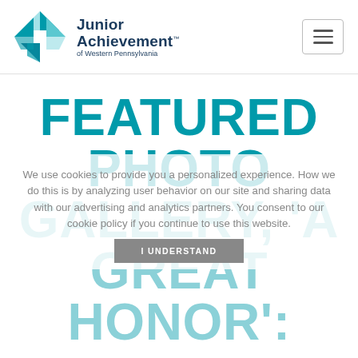[Figure (logo): Junior Achievement of Western Pennsylvania logo with teal geometric star/pinwheel icon and dark blue text]
FEATURED PHOTO GALLERY, A GREAT HONOR:
We use cookies to provide you a personalized experience. How we do this is by analyzing user behavior on our site and sharing data with our advertising and analytics partners. You consent to our cookie policy if you continue to use this website.
I UNDERSTAND